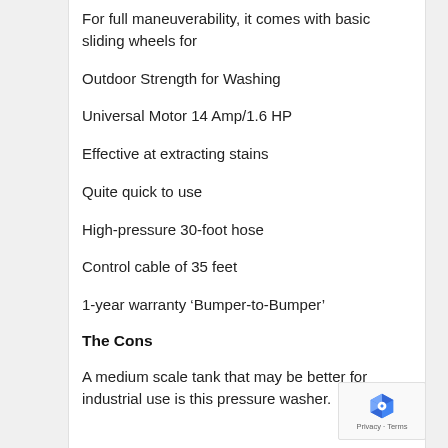For full maneuverability, it comes with basic sliding wheels for
Outdoor Strength for Washing
Universal Motor 14 Amp/1.6 HP
Effective at extracting stains
Quite quick to use
High-pressure 30-foot hose
Control cable of 35 feet
1-year warranty ‘Bumper-to-Bumper’
The Cons
A medium scale tank that may be better for industrial use is this pressure washer.